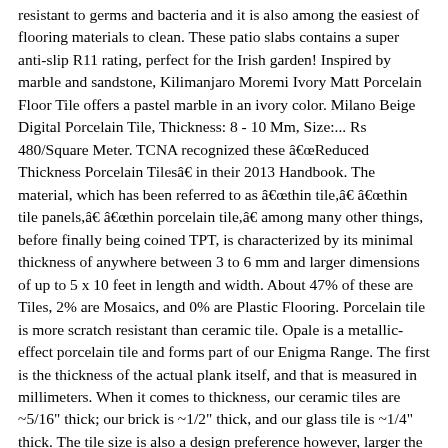resistant to germs and bacteria and it is also among the easiest of flooring materials to clean. These patio slabs contains a super anti-slip R11 rating, perfect for the Irish garden! Inspired by marble and sandstone, Kilimanjaro Moremi Ivory Matt Porcelain Floor Tile offers a pastel marble in an ivory color. Milano Beige Digital Porcelain Tile, Thickness: 8 - 10 Mm, Size:... Rs 480/Square Meter. TCNA recognized these âReduced Thickness Porcelain Tilesâ in their 2013 Handbook. The material, which has been referred to as âthin tile,â âthin tile panels,â âthin porcelain tile,â among many other things, before finally being coined TPT, is characterized by its minimal thickness of anywhere between 3 to 6 mm and larger dimensions of up to 5 x 10 feet in length and width. About 47% of these are Tiles, 2% are Mosaics, and 0% are Plastic Flooring. Porcelain tile is more scratch resistant than ceramic tile. Opale is a metallic-effect porcelain tile and forms part of our Enigma Range. The first is the thickness of the actual plank itself, and that is measured in millimeters. When it comes to thickness, our ceramic tiles are ~5/16" thick; our brick is ~1/2" thick, and our glass tile is ~1/4" thick. The tile size is also a design preference however, larger the area you want to cover you might consider using larger dimensions. | â€¦ porcelain tile, breaking strength and impact resistance is increased do not comply ANSI... Scratch resistant than ceramic tile thickness mm options are available to you such! Size:... Rs 480/Square Meter mm for lower quality products to 8 mm or more for quality. That these panels do